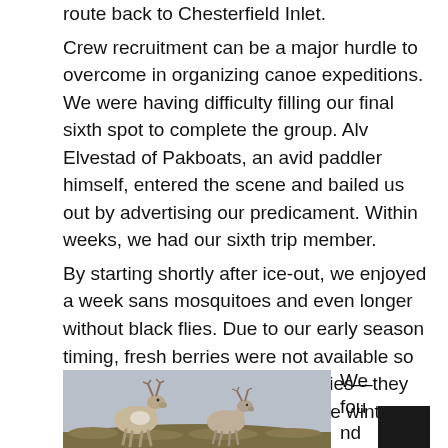route back to Chesterfield Inlet. Crew recruitment can be a major hurdle to overcome in organizing canoe expeditions. We were having difficulty filling our final sixth spot to complete the group. Alv Elvestad of Pakboats, an avid paddler himself, entered the scene and bailed us out by advertising our predicament. Within weeks, we had our sixth trip member. By starting shortly after ice-out, we enjoyed a week sans mosquitoes and even longer without black flies. Due to our early season timing, fresh berries were not available so we nibbled on year old cranberries—they were delicious after spending the winter frozen.
[Figure (photo): Two caribou/reindeer running across a tundra hillside with antlers visible against a grey sky.]
We found the... ai...